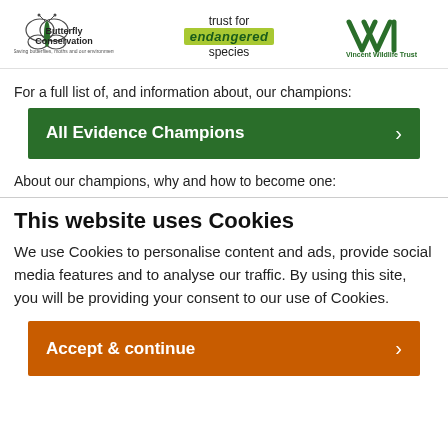[Figure (logo): Three logos: Butterfly Conservation (butterfly icon with text), trust for endangered species (green badge), Vincent Wildlife Trust (VWT chevron logo)]
For a full list of, and information about, our champions:
All Evidence Champions
About our champions, why and how to become one:
This website uses Cookies
We use Cookies to personalise content and ads, provide social media features and to analyse our traffic. By using this site, you will be providing your consent to our use of Cookies.
Accept & continue